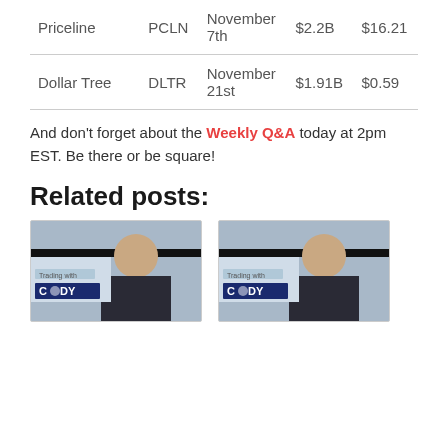| Company | Ticker | Date | Revenue | EPS |
| --- | --- | --- | --- | --- |
| Priceline | PCLN | November 7th | $2.2B | $16.21 |
| Dollar Tree | DLTR | November 21st | $1.91B | $0.59 |
And don't forget about the Weekly Q&A today at 2pm EST. Be there or be square!
Related posts:
[Figure (photo): Two thumbnail images side by side showing a man with glasses in front of a 'Trading With Cody' presentation screen]